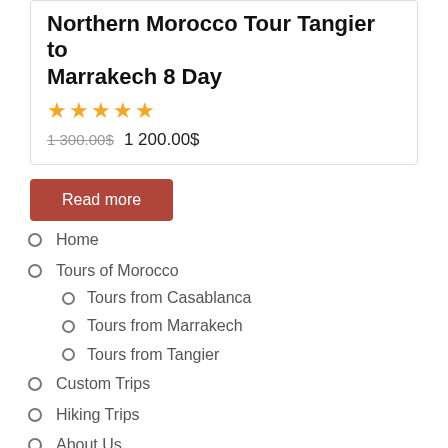Northern Morocco Tour Tangier to Marrakech 8 Day
★★★★★
1 300.00$ 1 200.00$
Read more
Home
Tours of Morocco
Tours from Casablanca
Tours from Marrakech
Tours from Tangier
Custom Trips
Hiking Trips
About Us
About us
Reviews
Travelers
Booking Terms